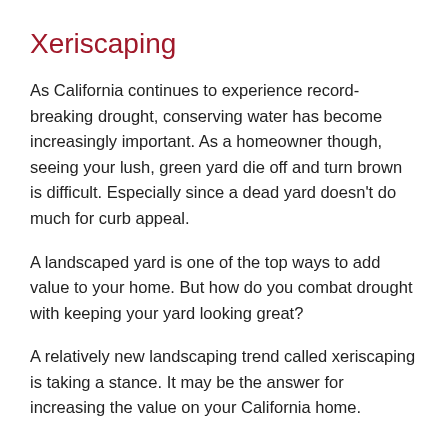Xeriscaping
As California continues to experience record-breaking drought, conserving water has become increasingly important. As a homeowner though, seeing your lush, green yard die off and turn brown is difficult. Especially since a dead yard doesn’t do much for curb appeal.
A landscaped yard is one of the top ways to add value to your home. But how do you combat drought with keeping your yard looking great?
A relatively new landscaping trend called xeriscaping is taking a stance. It may be the answer for increasing the value on your California home.